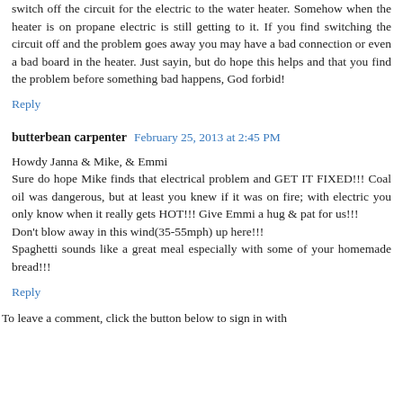switch off the circuit for the electric to the water heater. Somehow when the heater is on propane electric is still getting to it. If you find switching the circuit off and the problem goes away you may have a bad connection or even a bad board in the heater. Just sayin, but do hope this helps and that you find the problem before something bad happens, God forbid!
Reply
butterbean carpenter  February 25, 2013 at 2:45 PM
Howdy Janna & Mike, & Emmi
Sure do hope Mike finds that electrical problem and GET IT FIXED!!! Coal oil was dangerous, but at least you knew if it was on fire; with electric you only know when it really gets HOT!!! Give Emmi a hug & pat for us!!!
Don't blow away in this wind(35-55mph) up here!!!
Spaghetti sounds like a great meal especially with some of your homemade bread!!!
Reply
To leave a comment, click the button below to sign in with